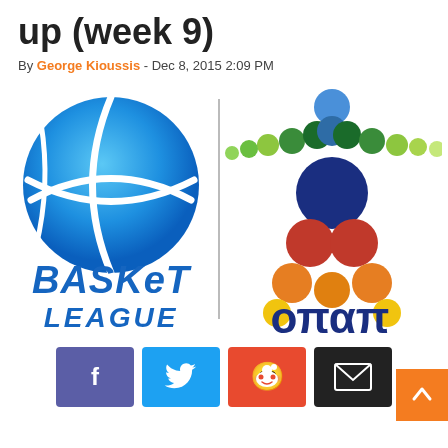up (week 9)
By George Kioussis - Dec 8, 2015 2:09 PM
[Figure (logo): OPAP Basket League logo — left side shows a blue basketball with 'BASKET LEAGUE' text; right side shows OPAP colorful dots logo with Greek text 'οπαπ'; separated by a vertical gray line]
[Figure (infographic): Social share buttons: Facebook (purple), Twitter (cyan), Reddit (orange-red), Email (black), and a scroll-to-top orange button with up arrow]